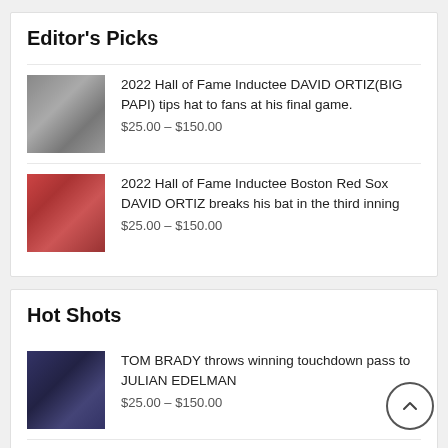Editor's Picks
2022 Hall of Fame Inductee DAVID ORTIZ(BIG PAPI) tips hat to fans at his final game. $25.00 – $150.00
2022 Hall of Fame Inductee Boston Red Sox DAVID ORTIZ breaks his bat in the third inning $25.00 – $150.00
Hot Shots
TOM BRADY throws winning touchdown pass to JULIAN EDELMAN $25.00 – $150.00
ROB GRONKOWSKI, Patriots tight end catches